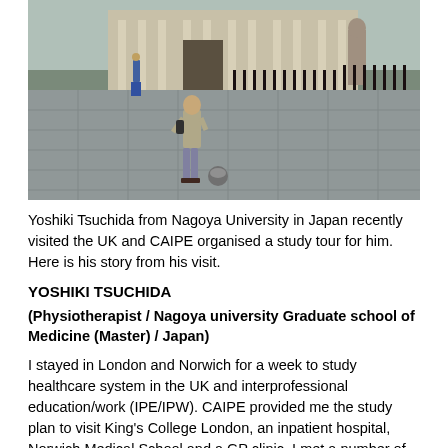[Figure (photo): A young man walking in a plaza in front of a classical stone building with iron railings and a statue, likely in London UK.]
Yoshiki Tsuchida from Nagoya University in Japan recently visited the UK and CAIPE organised a study tour for him.  Here is his story from his visit.
YOSHIKI TSUCHIDA
(Physiotherapist / Nagoya university Graduate school of Medicine (Master) / Japan)
I stayed in London and Norwich for a week to study healthcare system in the UK and interprofessional education/work (IPE/IPW). CAIPE provided me the study plan to visit King's College London, an inpatient hospital, Norwich Medical School and a GP clinic. I met a number of professionals and discussed